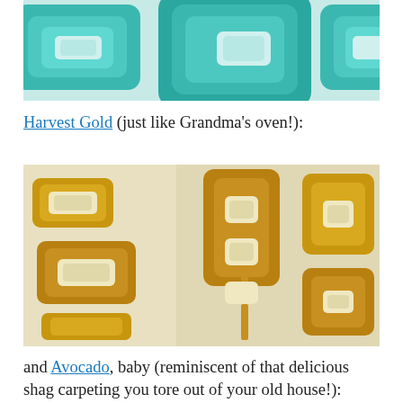[Figure (photo): Close-up photo of teal/turquoise colored retro mid-century modern embossed design pattern]
Harvest Gold (just like Grandma's oven!):
[Figure (photo): Close-up photo of harvest gold/mustard yellow colored retro mid-century modern embossed design pattern]
and Avocado, baby (reminiscent of that delicious shag carpeting you tore out of your old house!):